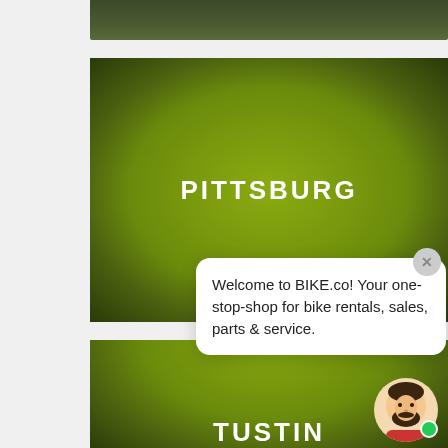[Figure (screenshot): Top portion of a green gradient card, cropped at the top of the page]
[Figure (illustration): Green gradient card with 'PITTSBURG' text in white bold uppercase letters centered on the card]
Welcome to BIKE.co! Your one-stop-shop for bike rentals, sales, parts & service.
[Figure (illustration): Partial green gradient card showing 'TUSTIN' text at the bottom of the page]
[Figure (illustration): Circular avatar icon of a bearded man with a green online status indicator]